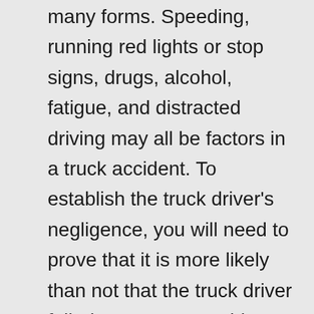many forms. Speeding, running red lights or stop signs, drugs, alcohol, fatigue, and distracted driving may all be factors in a truck accident. To establish the truck driver's negligence, you will need to prove that it is more likely than not that the truck driver failed to use reasonable care while driving, and as a result you were injured. For example, if a delivery driver is hurrying to make a delivery and runs a red light, T-boning your car, this is likely to be considered a failure to use reasonable care.
Some delivery companies encourage their drivers' negligence by failing to adopt or enforce proper